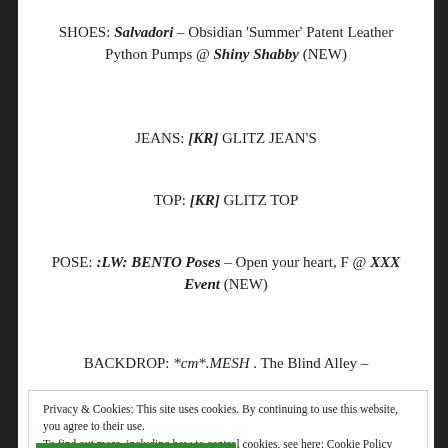SHOES: Salvadori – Obsidian 'Summer' Patent Leather Python Pumps @ Shiny Shabby (NEW)
JEANS: [KR] GLITZ JEAN'S
TOP: [KR] GLITZ TOP
POSE: :LW: BENTO Poses – Open your heart, F @ XXX Event (NEW)
BACKDROP: *cm*.MESH . The Blind Alley –
Privacy & Cookies: This site uses cookies. By continuing to use this website, you agree to their use. To find out more, including how to control cookies, see here: Cookie Policy